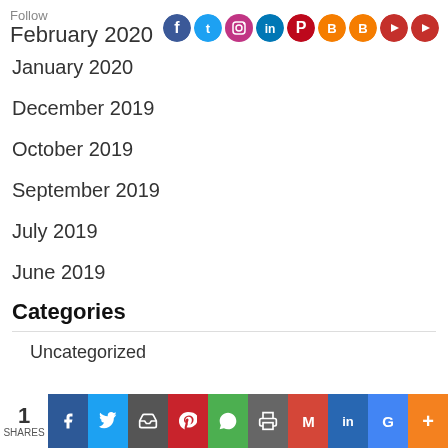Follow February 2020 [social icons]
January 2020
December 2019
October 2019
September 2019
July 2019
June 2019
Categories
Uncategorized
1 SHARES [share buttons: Facebook, Twitter, Email, Pinterest, WhatsApp, Print, Gmail, LinkedIn, Google+, More]